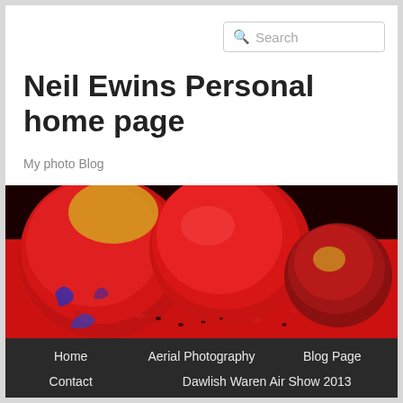Search
Neil Ewins Personal home page
My photo Blog
[Figure (photo): Close-up photo of red apples/cranberries with water droplets on a red reflective surface, dark background]
Home
Aerial Photography
Blog Page
Contact
Dawlish Waren Air Show 2013
Portfolio Gallery
Prize Hook Scam
Video Gallery